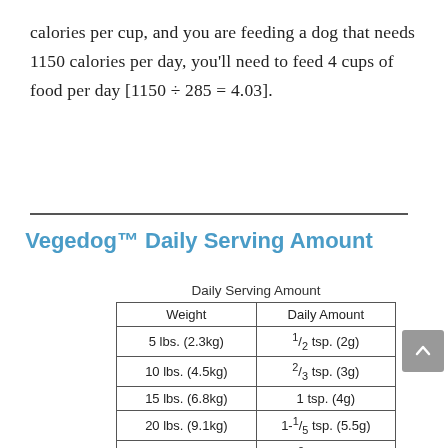calories per cup, and you are feeding a dog that needs 1150 calories per day, you'll need to feed 4 cups of food per day [1150 ÷ 285 = 4.03].
Vegedog™ Daily Serving Amount
Daily Serving Amount
| Weight | Daily Amount |
| --- | --- |
| 5 lbs. (2.3kg) | 1/2 tsp. (2g) |
| 10 lbs. (4.5kg) | 2/3 tsp. (3g) |
| 15 lbs. (6.8kg) | 1 tsp. (4g) |
| 20 lbs. (9.1kg) | 1-1/5 tsp. (5.5g) |
| 30 lbs. (13.6kg) | 1-2/3 tsp. (7g) |
| 40 lbs. (18.1kg) | 2 tsp. (9g) |